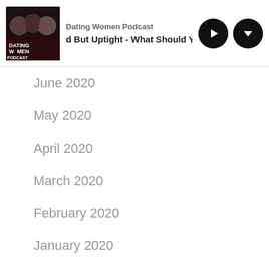Dating Women Podcast | d But Uptight - What Should You Do?
June 2020
May 2020
April 2020
March 2020
February 2020
January 2020
December 2019
November 2019
October 2019